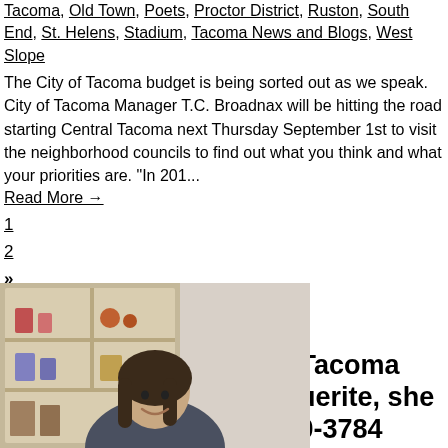Tacoma, Old Town, Poets, Proctor District, Ruston, South End, St. Helens, Stadium, Tacoma News and Blogs, West Slope
The City of Tacoma budget is being sorted out as we speak. City of Tacoma Manager T.C. Broadnax will be hitting the road starting Central Tacoma next Thursday September 1st to visit the neighborhood councils to find out what you think and what your priorities are. "In 201...
Read More →
1
2
»
Search...
Have a question about Tacoma Real Estate? Text Marguerite, she won't stalk you! 253-820-3784
[Figure (photo): A smiling woman with long dark hair seated indoors in front of a bookshelf with decorative items]